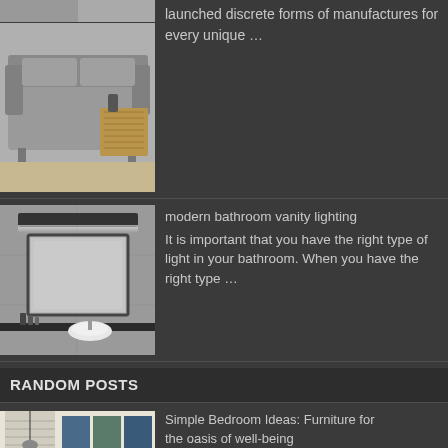[Figure (photo): Sofa/couch with grey cushions and a wicker side table in a living room setting]
launched discrete forms of manufactures for every unique …
[Figure (photo): Modern bathroom with vanity lighting above a large framed mirror, wall-mounted sink and toiletries]
modern bathroom vanity lighting
It is important that you have the right type of light in your bathroom. When you have the right type …
RANDOM POSTS
[Figure (photo): Bedroom with wall art prints and window blinds]
Simple Bedroom Ideas: Furniture for the oasis of well-being
The most important piece of furniture in the bedroom …